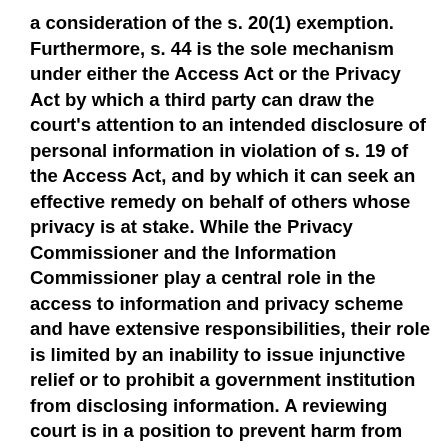a consideration of the s. 20(1) exemption. Furthermore, s. 44 is the sole mechanism under either the Access Act or the Privacy Act by which a third party can draw the court's attention to an intended disclosure of personal information in violation of s. 19 of the Access Act, and by which it can seek an effective remedy on behalf of others whose privacy is at stake. While the Privacy Commissioner and the Information Commissioner play a central role in the access to information and privacy scheme and have extensive responsibilities, their role is limited by an inability to issue injunctive relief or to prohibit a government institution from disclosing information. A reviewing court is in a position to prevent harm from being committed and the statutory scheme imposes no legal barrier to prevent the court from intervening. An interpretation of s. 44 that forces an individual to wait until the personal information is disclosed and the